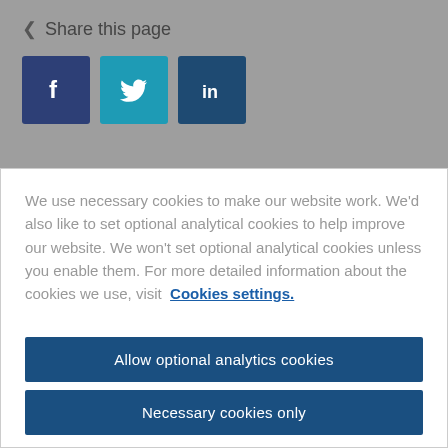< Share this page
[Figure (illustration): Social media share buttons: Facebook (dark blue), Twitter (teal), LinkedIn (dark teal)]
We use necessary cookies to make our website work. We'd also like to set optional analytical cookies to help improve our website. We won't set optional analytical cookies unless you enable them. For more detailed information about the cookies we use, visit Cookies settings.
Allow optional analytics cookies
Necessary cookies only